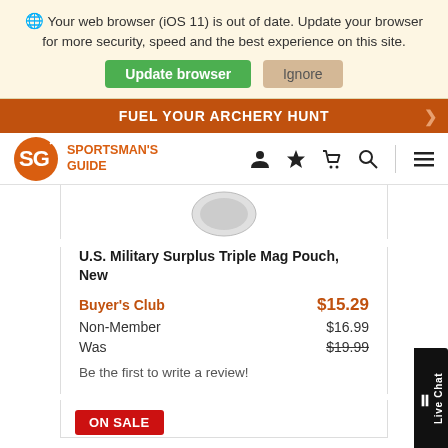Your web browser (iOS 11) is out of date. Update your browser for more security, speed and the best experience on this site.
Update browser   Ignore
FUEL YOUR ARCHERY HUNT
[Figure (logo): Sportsman's Guide logo with SG letters in orange circle, text SPORTSMAN'S GUIDE in orange]
[Figure (screenshot): Partial product image (circular) at top of product card]
U.S. Military Surplus Triple Mag Pouch, New
Buyer's Club   $15.29
Non-Member   $16.99
Was   $19.99
Be the first to write a review!
ON SALE